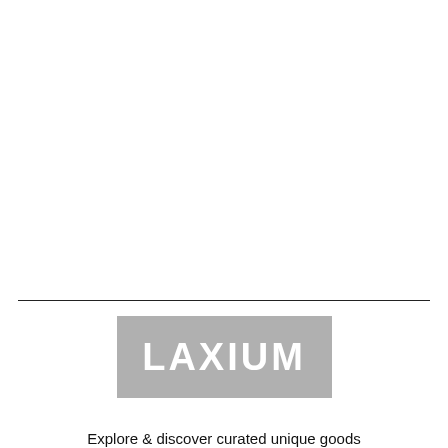[Figure (logo): LAXIUM logo: white bold uppercase text on a grey rectangle background]
Explore & discover curated unique goods that will enhance your everyday lifestyle.